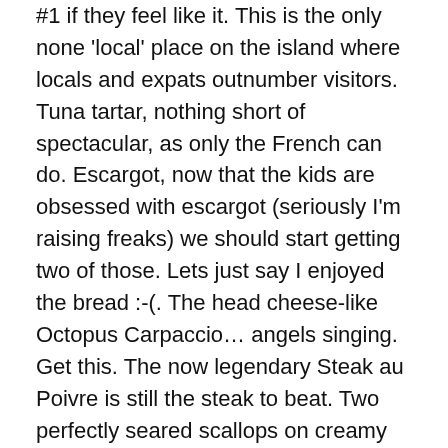#1 if they feel like it.  This is the only none 'local' place on the island where locals and expats outnumber visitors.  Tuna tartar, nothing short of spectacular, as only the French can do.  Escargot, now that the kids are obsessed with escargot (seriously I'm raising freaks) we should start getting two of those.  Lets just say I enjoyed the bread :-(.  The head cheese-like Octopus Carpaccio… angels singing.  Get this.  The now legendary Steak au Poivre is still the steak to beat.  Two perfectly seared scallops on creamy saffron risotto was on point.  A beautifully done yellowfin tuna (left), so light and flavorful (once you add the sauce).  Perhaps the best LB meal to date.
Conch Shack – We forgot how much fun this place can be.  And the food here is good enough to make it a regular again.  Conch rules much of the menu, but make sure to get the jerk wings with the homemade sauce.  The sauce